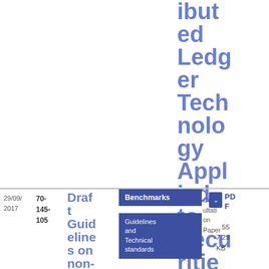ibuted Ledger Technology Applied to Securities Markets
29/09/2017
70-145-105
Draft Guidelines on non-
Benchmarks
Consultation Paper
Guidelines and Technical standards
PDF
55
7.29 KB